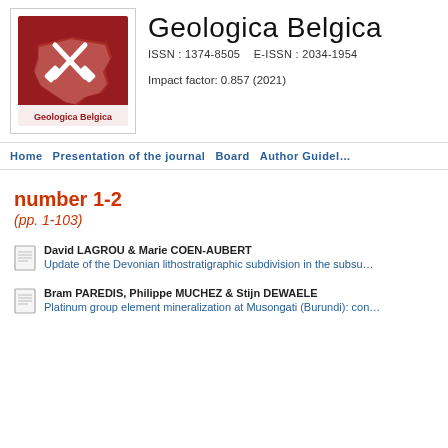[Figure (logo): Geologica Belgica journal logo: red square with Belgium map outline and crossed hammers, text 'Geologica Belgica' at bottom]
Geologica Belgica
ISSN : 1374-8505    E-ISSN : 2034-1954
Impact factor: 0.857 (2021)
Home    Presentation of the journal    Board    Author Guidelines
number 1-2
(pp. 1-103)
David LAGROU & Marie COEN-AUBERT
Update of the Devonian lithostratigraphic subdivision in the subsu…
Bram PAREDIS, Philippe MUCHEZ & Stijn DEWAELE
Platinum group element mineralization at Musongati (Burundi): con…